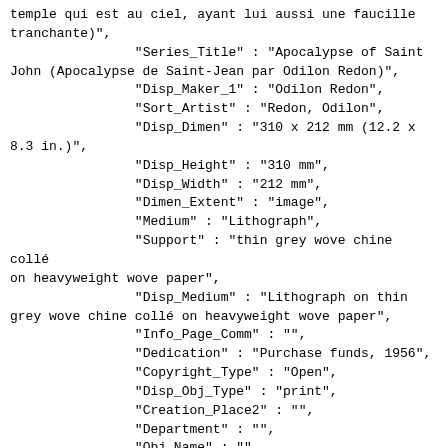temple qui est au ciel, ayant lui aussi une faucille tranchante)",
                "Series_Title" : "Apocalypse of Saint John (Apocalypse de Saint-Jean par Odilon Redon)",
                "Disp_Maker_1" : "Odilon Redon",
                "Sort_Artist" : "Redon, Odilon",
                "Disp_Dimen" : "310 x 212 mm (12.2 x 8.3 in.)",
                "Disp_Height" : "310 mm",
                "Disp_Width" : "212 mm",
                "Dimen_Extent" : "image",
                "Medium" : "Lithograph",
                "Support" : "thin grey wove chine collé on heavyweight wove paper",
                "Disp_Medium" : "Lithograph on thin grey wove chine collé on heavyweight wove paper",
                "Info_Page_Comm" : "",
                "Dedication" : "Purchase funds, 1956",
                "Copyright_Type" : "Open",
                "Disp_Obj_Type" : "print",
                "Creation_Place2" : "",
                "Department" : "",
                "Obj_Name" : "",
                "Period" : "",
                "Style" : "",
                "Edition" : "From the edition of 100 portfolios, each containing thirteen lithographs (cover and twelve plates), printed by Blanchard; Paris, Edité par Vollard, 6 rue Laffitte. The DAC's set may be an exceptionally fine one, with certain plates bearing